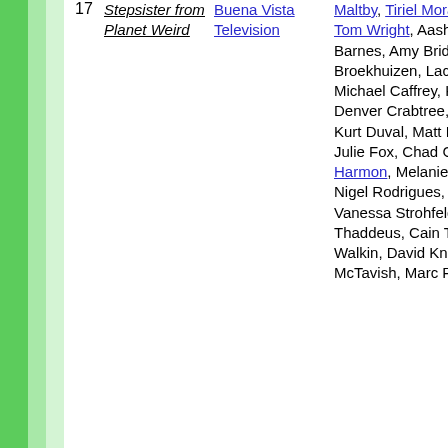| # | Title | Studio | Cast | ... |
| --- | --- | --- | --- | --- |
| 17 | Stepsister from Planet Weird | Buena Vista Television | Maltby, Tiriel Mora, Henry Feagins, Tom Wright, Aash Aaron, Shane Barnes, Amy Bridge, Wendy Broekhuizen, Lachlan Burnett, Michael Caffrey, Katie Campbell, Denver Crabtree, Gabriella Di Labio, Kurt Duval, Matt Emery, Chris Foy, Julie Fox, Chad Green, Brooke Harmon, Melanie McKee, Neil Pigot, Nigel Rodrigues, George Smilovici, Vanessa Strohfeldt, Marlene Thaddeus, Cain Thompson, John Walkin, David Knijnenburg, Alex McTavish, Marc Purnell, Tara Jade | Con Fan Fi |